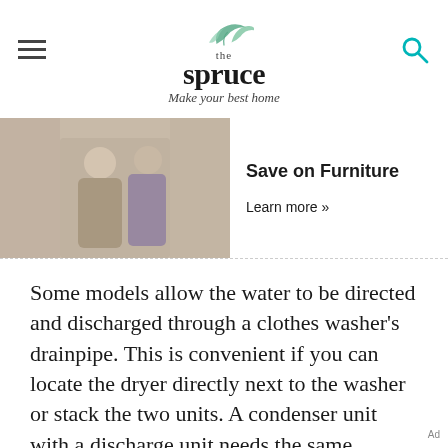the spruce — Make your best home
[Figure (photo): Two people standing near a doorway, casual clothing]
Save on Furniture
Learn more »
Some models allow the water to be directed and discharged through a clothes washer's drainpipe. This is convenient if you can locate the dryer directly next to the washer or stack the two units. A condenser unit with a discharge unit needs the same attention as one with a containment chamber except for the need to